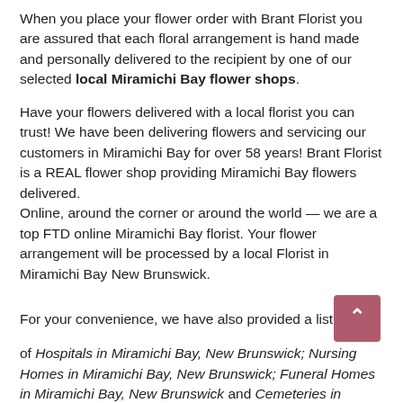When you place your flower order with Brant Florist you are assured that each floral arrangement is hand made and personally delivered to the recipient by one of our selected local Miramichi Bay flower shops.
Have your flowers delivered with a local florist you can trust! We have been delivering flowers and servicing our customers in Miramichi Bay for over 58 years! Brant Florist is a REAL flower shop providing Miramichi Bay flowers delivered.
Online, around the corner or around the world — we are a top FTD online Miramichi Bay florist. Your flower arrangement will be processed by a local Florist in Miramichi Bay New Brunswick.
For your convenience, we have also provided a list of Hospitals in Miramichi Bay, New Brunswick; Nursing Homes in Miramichi Bay, New Brunswick; Funeral Homes in Miramichi Bay, New Brunswick and Cemeteries in Miramichi Bay, New Brunswick that we can deliver flowers to.